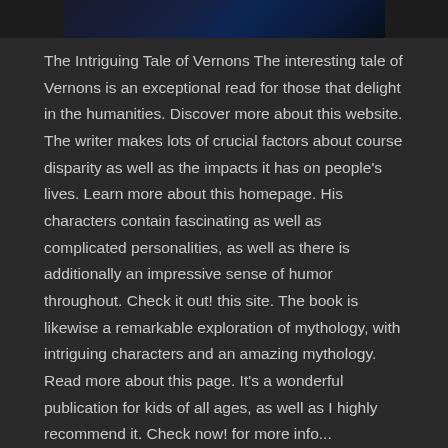[Figure (photo): Dark image bar at top of page, appears to show a dark blue/teal night scene]
The Intriguing Tale of Vernons The interesting tale of Vernons is an exceptional read for those that delight in the humanities. Discover more about this website. The writer makes lots of crucial factors about course disparity as well as the impacts it has on people's lives. Learn more about this homepage. His characters contain fascinating as well as complicated personalities, as well as there is additionally an impressive sense of humor throughout. Check it out! this site. The book is likewise a remarkable exploration of mythology, with intriguing characters and an amazing mythology. Read more about this page. It's a wonderful publication for kids of all ages, as well as I highly recommend it. Check now! for more info...
READ MORE  ›